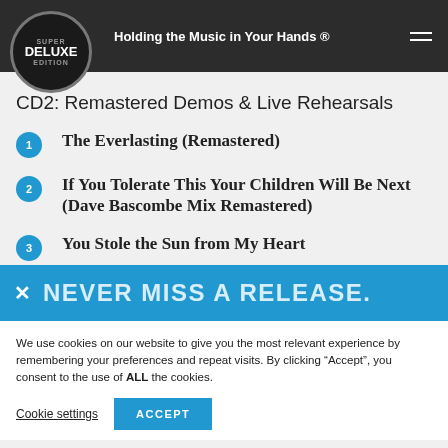Super Deluxe Edition — Holding the Music in Your Hands ®
CD2: Remastered Demos & Live Rehearsals
1 The Everlasting (Remastered)
2 If You Tolerate This Your Children Will Be Next (Dave Bascombe Mix Remastered)
3 You Stole the Sun from My Heart
[Figure (screenshot): Blue banner overlay reading NEVER MISS A RELEASE with an X close button]
We use cookies on our website to give you the most relevant experience by remembering your preferences and repeat visits. By clicking "Accept", you consent to the use of ALL the cookies.
Cookie settings | ACCEPT